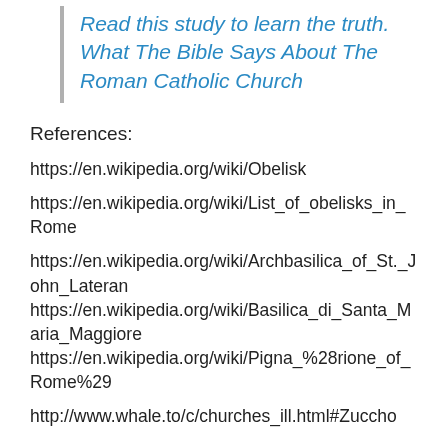Read this study to learn the truth. What The Bible Says About The Roman Catholic Church
References:
https://en.wikipedia.org/wiki/Obelisk
https://en.wikipedia.org/wiki/List_of_obelisks_in_Rome
https://en.wikipedia.org/wiki/Archbasilica_of_St._John_Lateran
https://en.wikipedia.org/wiki/Basilica_di_Santa_Maria_Maggiore
https://en.wikipedia.org/wiki/Pigna_%28rione_of_Rome%29
http://www.whale.to/c/churches_ill.html#Zuccho